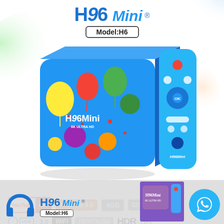[Figure (photo): H96 Mini Model H6 Android TV Box product photo with colorful balloon design on blue box, blue remote control, showing YouTube 4K, Android 9.0, 4GB RAM, 32/128GB storage, USB 3.0, WiFi, HEVC H.265, HDR, 6K feature badges. Bottom section shows headphone icon, mini H96 Mini logo, Model:H6, WhatsApp button, and product thumbnail.]